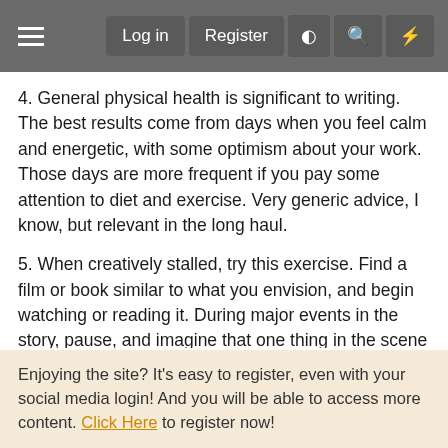Log in  Register
4. General physical health is significant to writing. The best results come from days when you feel calm and energetic, with some optimism about your work. Those days are more frequent if you pay some attention to diet and exercise. Very generic advice, I know, but relevant in the long haul.
5. When creatively stalled, try this exercise. Find a film or book similar to what you envision, and begin watching or reading it. During major events in the story, pause, and imagine that one thing in the scene had gone differently. Now write that story in your head. What if that bullet that whizzed harmlessly by the hero's head had hit, what then? Where would this story be headed if the orphanage didn't get burned down. How would the detective have solved the case if the killer didn't leave behind
Enjoying the site? It's easy to register, even with your social media login! And you will be able to access more content. Click Here to register now!